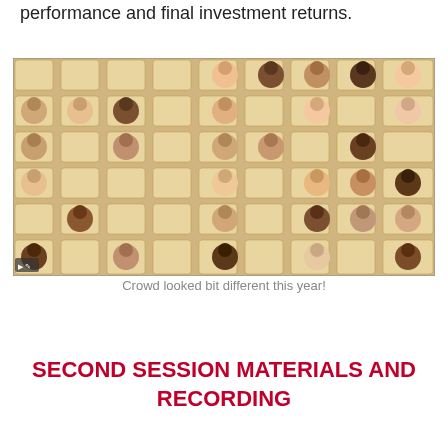performance and final investment returns.
[Figure (photo): Screenshot of a virtual meeting showing approximately 20 participants displayed in an auditorium-style grid view, with attendees' faces overlaid on empty auditorium seats.]
Crowd looked bit different this year!
SECOND SESSION MATERIALS AND RECORDING